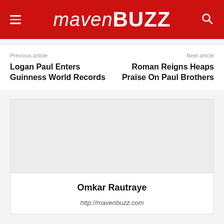Maven Buzz
Previous article
Logan Paul Enters Guinness World Records
Next article
Roman Reigns Heaps Praise On Paul Brothers
Omkar Rautraye
http://mavenbuzz.com